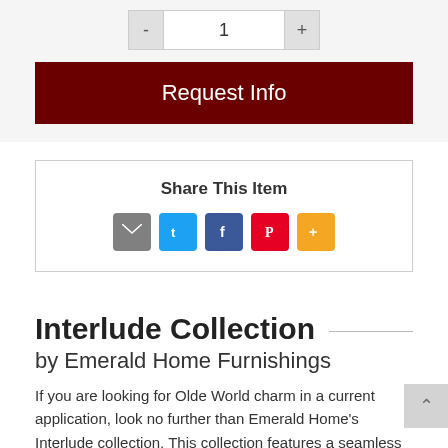[Figure (other): Quantity selector with minus button, input showing 1, and plus button]
[Figure (other): Dark red 'Request Info' button]
Share This Item
[Figure (other): Social share icons: email (grey), Twitter (blue), Facebook (dark blue), Pinterest (red), More (orange)]
Interlude Collection
by Emerald Home Furnishings
If you are looking for Olde World charm in a current application, look no further than Emerald Home's Interlude collection. This collection features a seamless blending of hand distressed